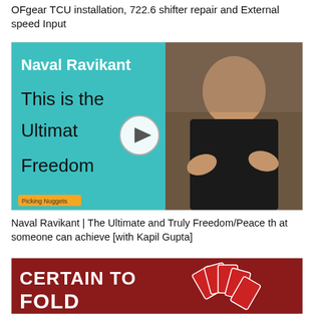OFgear TCU installation, 722.6 shifter repair and External speed Input
[Figure (screenshot): Video thumbnail for Naval Ravikant 'This is the Ultimate Freedom' by Picking Nuggets, with a play button overlay. Left half is teal with white bold text 'Naval Ravikant' and black large text 'This is the Ultimate Freedom'. Right half shows a man gesturing with hands. Yellow badge reads 'Picking Nuggets'.]
Naval Ravikant | The Ultimate and Truly Freedom/Peace that someone can achieve [with Kapil Gupta]
[Figure (screenshot): Video thumbnail with dark red/maroon background showing playing cards fanned out and text 'CERTAIN TO FOLD' in large white letters.]